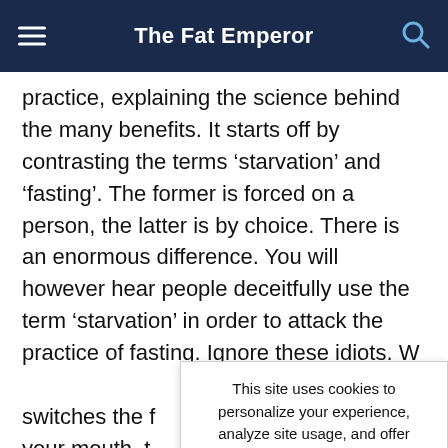The Fat Emperor
practice, explaining the science behind the many benefits. It starts off by contrasting the terms ‘starvation’ and ‘fasting’. The former is forced on a person, the latter is by choice. There is an enormous difference. You will however hear people deceitfully use the term ‘starvation’ in order to attack the practice of fasting. Ignore these idiots. W switches the f your mouth, t middle. The bi switching to ancient processes of bodyfat
This site uses cookies to personalize your experience, analyze site usage, and offer tailored promotions.